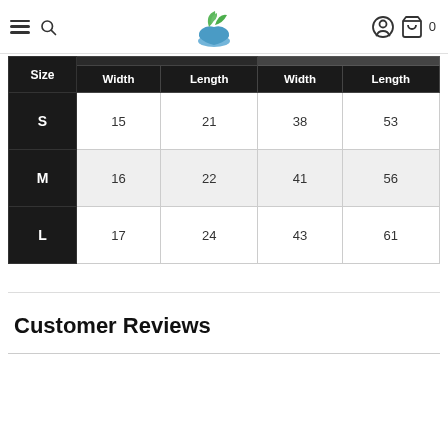Navigation bar with hamburger menu, search icon, logo, user icon, cart icon (0)
| Size | Width (in) | Length (in) | Width (cm) | Length (cm) |
| --- | --- | --- | --- | --- |
| S | 15 | 21 | 38 | 53 |
| M | 16 | 22 | 41 | 56 |
| L | 17 | 24 | 43 | 61 |
Customer Reviews